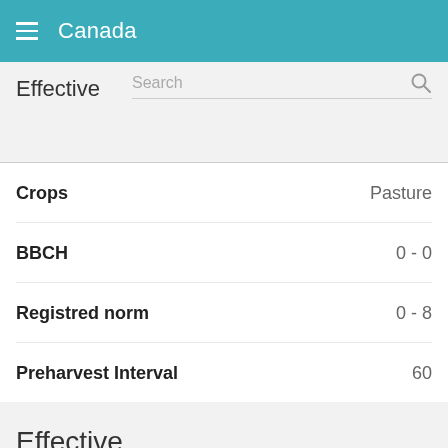Canada
Effective
Search
| Crops | Pasture |
| --- | --- |
| BBCH | 0 - 0 |
| Registred norm | 0 - 8 |
| Preharvest Interval | 60 |
Effective
Burr ragweed